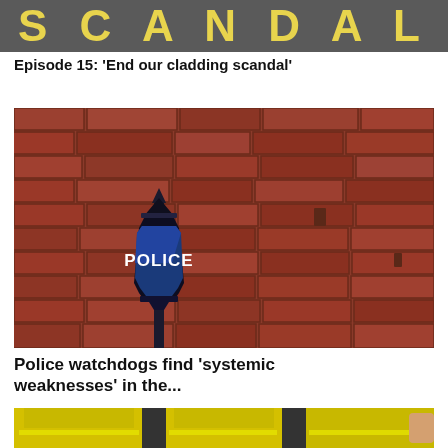SCANDAL
Episode 15: 'End our cladding scandal'
[Figure (photo): A black police lantern sign with blue glass panels reading 'POLICE' in white text, mounted against a red brick wall]
Police watchdogs find 'systemic weaknesses' in the...
[Figure (photo): Police officers in yellow high-visibility vests, partial view cropped at bottom of page]